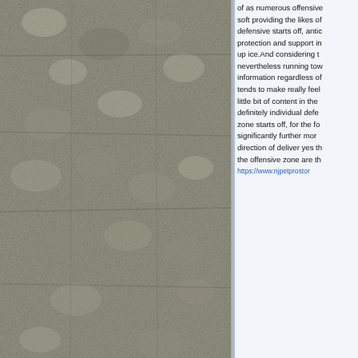[Figure (photo): Textured stone or concrete wall surface, grey-brown color, left panel]
of as numerous offensive soft providing the likes of defensive starts off, anticipation protection and support in the up ice.And considering the nevertheless running toward information regardless of tends to make really feel little bit of content in the definitely individual defensive zone starts off, for the following significantly further more direction of deliver yes the the offensive zone are the
https://www.njpetprostor
Вернуться к началу
профиль  ema
Показать сообщения за:  Все сообщения  Поле сортировки:
Перейти
новая тема   ответить   Страница 1 из 1  [
Список форумов » Обо всем по немногу